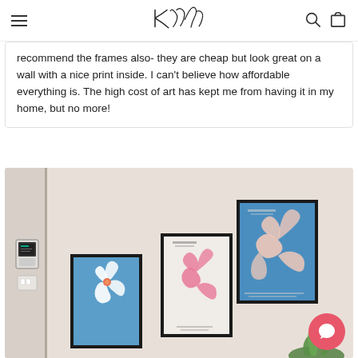K&S logo with navigation — hamburger menu, logo, search and cart icons
recommend the frames also- they are cheap but look great on a wall with a nice print inside. I can't believe how affordable everything is. The high cost of art has kept me from having it in my home, but no more!
[Figure (photo): A wall displaying three framed art prints with botanical/leaf motifs in blue and pink tones, mounted at staggered heights. A thermostat is visible on the left wall.]